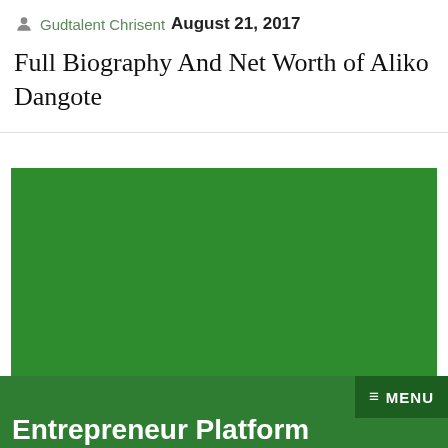Gudtalent Chrisent  August 21, 2017
Full Biography And Net Worth of Aliko Dangote
[Figure (photo): Large green rectangular image area, likely a photo of Aliko Dangote with green background visible]
≡ MENU  Entrepreneur Platform